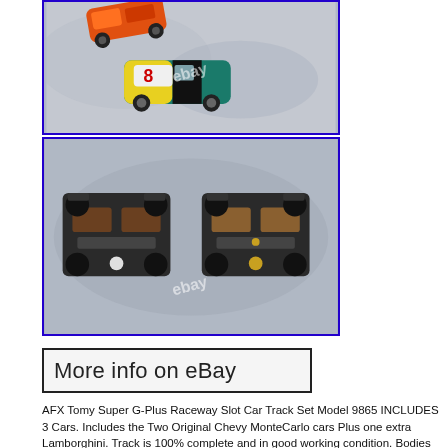[Figure (photo): Two slot car photos stacked: top image shows two toy slot cars (orange Lamborghini and number 8 Chevy MonteCarlo) on a quilt background with eBay watermark; bottom image shows the underside/chassis of two slot cars side by side on quilt background with eBay watermark. Both photos have blue borders.]
[Figure (other): Button-style image with text 'More info on eBay' in large font with black border on light background.]
AFX Tomy Super G-Plus Raceway Slot Car Track Set Model 9865 INCLUDES 3 Cars. Includes the Two Original Chevy MonteCarlo cars Plus one extra Lamborghini. Track is 100% complete and in good working condition. Bodies of cars are in good condition, but two cars need guide pin or track shoe. Also